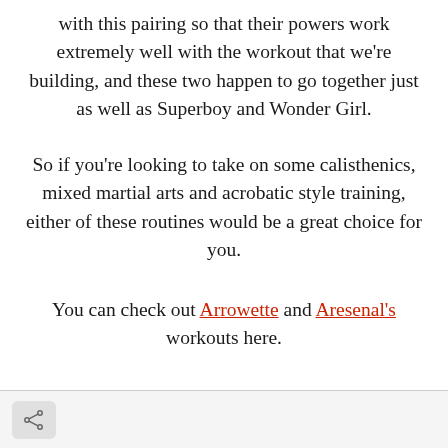with this pairing so that their powers work extremely well with the workout that we're building, and these two happen to go together just as well as Superboy and Wonder Girl.
So if you're looking to take on some calisthenics, mixed martial arts and acrobatic style training, either of these routines would be a great choice for you.
You can check out Arrowette and Aresenal's workouts here.